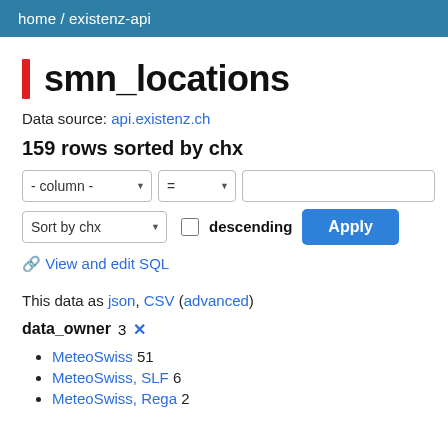home / existenz-api
smn_locations
Data source: api.existenz.ch
159 rows sorted by chx
- column - = [filter input] Sort by chx descending Apply
🔗 View and edit SQL
This data as json, CSV (advanced)
data_owner 3 ✕
MeteoSwiss 51
MeteoSwiss, SLF 6
MeteoSwiss, Rega 2